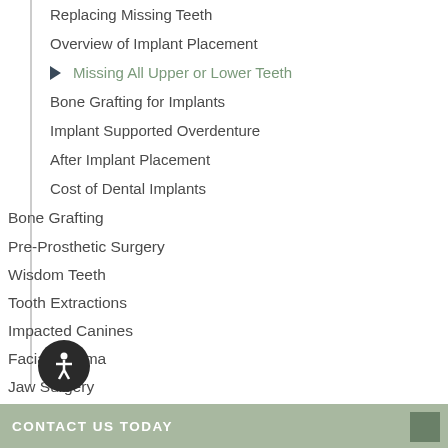Replacing Missing Teeth
Overview of Implant Placement
Missing All Upper or Lower Teeth
Bone Grafting for Implants
Implant Supported Overdenture
After Implant Placement
Cost of Dental Implants
Bone Grafting
Pre-Prosthetic Surgery
Wisdom Teeth
Tooth Extractions
Impacted Canines
Facial Trauma
Jaw Surgery
Oral Pathology
Anesthesia
TMJ
CONTACT US TODAY